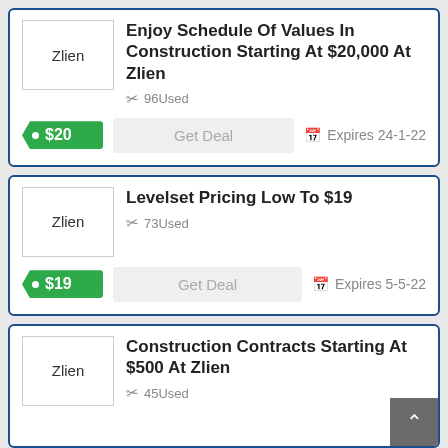[Figure (other): Deal card 1: Zlien logo box, title 'Enjoy Schedule Of Values In Construction Starting At $20,000 At Zlien', 96 Used, Get Deal button, Expires 24-1-22, price badge $20]
[Figure (other): Deal card 2: Zlien logo box, title 'Levelset Pricing Low To $19', 73 Used, Get Deal button, Expires 5-5-22, price badge $19]
[Figure (other): Deal card 3 (partial): Zlien logo box, title 'Construction Contracts Starting At $500 At Zlien', 45 Used]